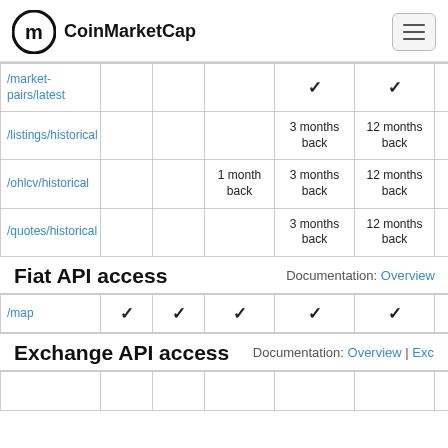CoinMarketCap
| Endpoint |  |  |  |  |  |  |
| --- | --- | --- | --- | --- | --- | --- |
| /market-pairs/latest |  |  |  | ✓ | ✓ |  |
| /listings/historical |  |  |  | 3 months back | 12 months back |  |
| /ohlcv/historical |  |  |  | 1 month back | 3 months back | 12 months back |
| /quotes/historical |  |  |  | 3 months back | 12 months back |  |
Fiat API access
Documentation: Overview
| Endpoint |  |  |  |  |  |  |
| --- | --- | --- | --- | --- | --- | --- |
| /map | ✓ | ✓ | ✓ | ✓ | ✓ |  |
Exchange API access
Documentation: Overview | Exc